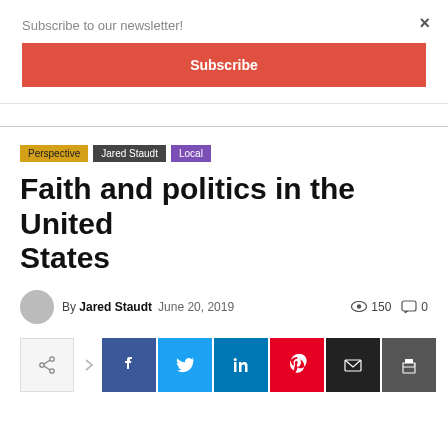Subscribe to our newsletter!
Subscribe
×
Perspective  Jared Staudt  Local
Faith and politics in the United States
By Jared Staudt  June 20, 2019  150  0
[Figure (infographic): Social share buttons row: share icon base button with arrow, then Facebook, Twitter, LinkedIn, Pinterest, Email, Print buttons]